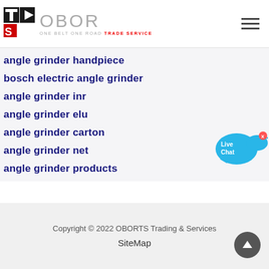[Figure (logo): OBOR Trade Service logo with TS icon and text 'OBOR ONE BELT ONE ROAD TRADE SERVICE']
angle grinder handpiece
bosch electric angle grinder
angle grinder inr
angle grinder elu
angle grinder carton
angle grinder net
angle grinder products
[Figure (illustration): Live Chat bubble icon in blue]
Copyright © 2022 OBORTS Trading & Services
SiteMap